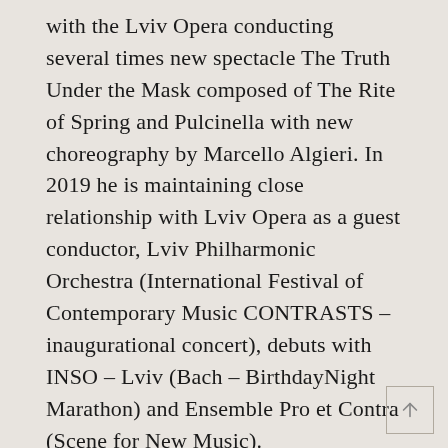with the Lviv Opera conducting several times new spectacle The Truth Under the Mask composed of The Rite of Spring and Pulcinella with new choreography by Marcello Algieri. In 2019 he is maintaining close relationship with Lviv Opera as a guest conductor, Lviv Philharmonic Orchestra (International Festival of Contemporary Music CONTRASTS – inaugurational concert), debuts with INSO – Lviv (Bach – BirthdayNight Marathon) and Ensemble Pro et Contra (Scene for New Music).
He conducted Lviv Opera & Ballet, Cracow Opera, Sinfonietta Cracovia, Beethoven Academy Orchestra, Artur Rubinstein Philharmonic in Łódź, Lviv Philharmonic,